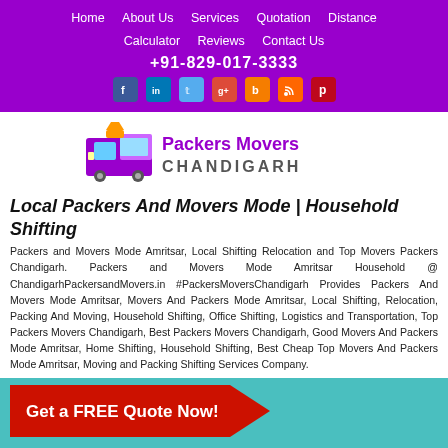Home | About Us | Services | Quotation | Distance Calculator | Reviews | Contact Us | +91-829-017-3333
[Figure (logo): Packers Movers Chandigarh logo with truck illustration and purple/gray text]
Local Packers And Movers Mode | Household Shifting
Packers and Movers Mode Amritsar, Local Shifting Relocation and Top Movers Packers Chandigarh. Packers and Movers Mode Amritsar Household @ ChandigarhPackersandMovers.in #PackersMoversChandigarh Provides Packers And Movers Mode Amritsar, Movers And Packers Mode Amritsar, Local Shifting, Relocation, Packing And Moving, Household Shifting, Office Shifting, Logistics and Transportation, Top Packers Movers Chandigarh, Best Packers Movers Chandigarh, Good Movers And Packers Mode Amritsar, Home Shifting, Household Shifting, Best Cheap Top Movers And Packers Mode Amritsar, Moving and Packing Shifting Services Company.
Get a FREE Quote Now!
Name